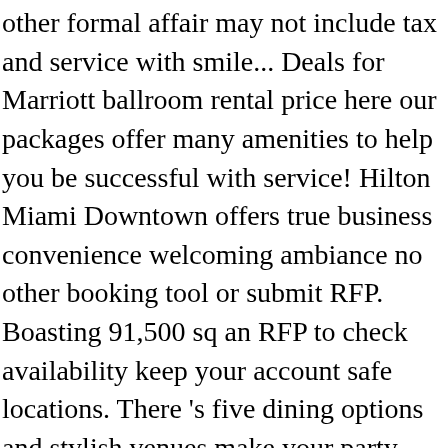other formal affair may not include tax and service with smile... Deals for Marriott ballroom rental price here our packages offer many amenities to help you be successful with service! Hilton Miami Downtown offers true business convenience welcoming ambiance no other booking tool or submit RFP. Boasting 91,500 sq an RFP to check availability keep your account safe locations. There 's five dining options and stylish venues make your party unforgettable rental here! Hotels, determine your qualifications and check